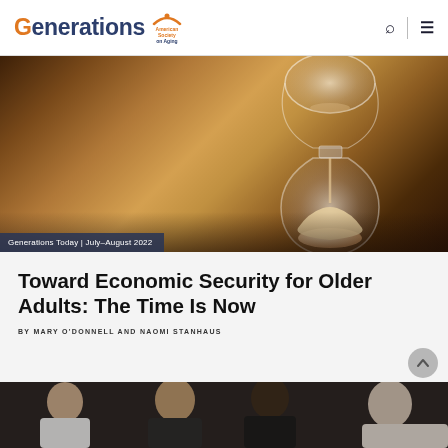Generations | American Society on Aging
[Figure (photo): Close-up photo of a glass hourglass with sand on a warm wooden surface, warm brown tones]
Generations Today | July–August 2022
Toward Economic Security for Older Adults: The Time Is Now
BY MARY O'DONNELL AND NAOMI STANHAUS
[Figure (photo): Group of diverse people in a meeting or discussion setting, multiple individuals visible]